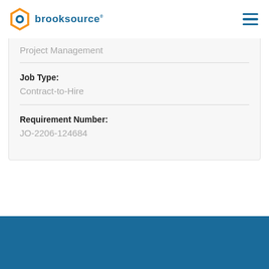[Figure (logo): Brooksource logo with orange hexagon icon and blue text]
Project Management
Job Type:
Contract-to-Hire
Requirement Number:
JO-2206-124684